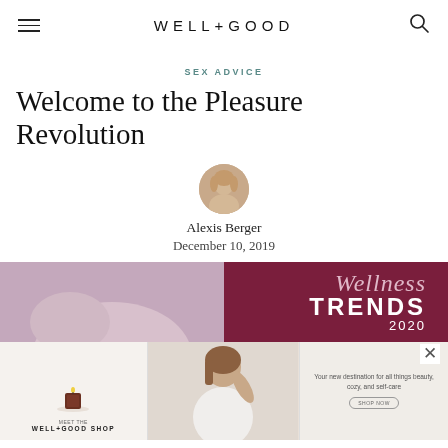WELL+GOOD
SEX ADVICE
Welcome to the Pleasure Revolution
Alexis Berger
December 10, 2019
[Figure (photo): Advertisement banner: Wellness Trends 2020 with shoulder photo and Well+Good Shop promotional images below]
Wellness TRENDS 2020